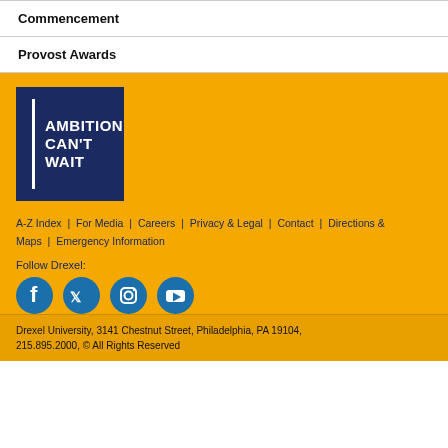Commencement
Provost Awards
[Figure (logo): Drexel University 'Ambition Can't Wait' logo — dark navy blue square with white vertical bar and bold white text reading AMBITION CAN'T WAIT]
A-Z Index | For Media | Careers | Privacy & Legal | Contact | Directions & Maps | Emergency Information
Follow Drexel:
[Figure (illustration): Four social media circular icons: Facebook, Twitter, Instagram, YouTube — all in teal/navy blue on yellow background]
Drexel University, 3141 Chestnut Street, Philadelphia, PA 19104, 215.895.2000, © All Rights Reserved